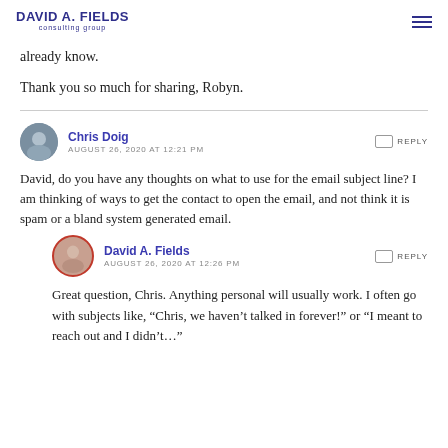DAVID A. FIELDS consulting group
already know.
Thank you so much for sharing, Robyn.
Chris Doig
AUGUST 26, 2020 AT 12:21 PM
REPLY
David, do you have any thoughts on what to use for the email subject line? I am thinking of ways to get the contact to open the email, and not think it is spam or a bland system generated email.
David A. Fields
AUGUST 26, 2020 AT 12:26 PM
REPLY
Great question, Chris. Anything personal will usually work. I often go with subjects like, “Chris, we haven’t talked in forever!” or “Long...